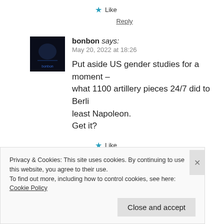★ Like
Reply
bonbon says: May 20, 2022 at 18:26
Put aside US gender studies for a moment – what 1100 artillery pieces 24/7 did to Berlin ... least Napoleon.
Get it?
★ Like
Reply
Privacy & Cookies: This site uses cookies. By continuing to use this website, you agree to their use.
To find out more, including how to control cookies, see here: Cookie Policy
Close and accept